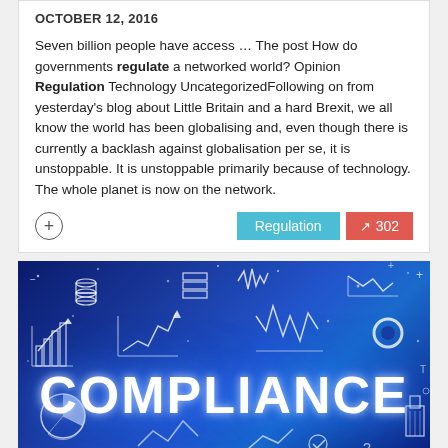OCTOBER 12, 2016
Seven billion people have access … The post How do governments regulate a networked world? Opinion Regulation Technology UncategorizedFollowing on from yesterday's blog about Little Britain and a hard Brexit, we all know the world has been globalising and, even though there is currently a backlash against globalisation per se, it is unstoppable. It is unstoppable primarily because of technology. The whole planet is now on the network.
[Figure (photo): Dark blue background with financial and data icons drawn in white line-art style (charts, graphs, database icons, arrows, pie chart, compass). Large white glowing text 'COMPLIANCE' centered at the bottom of the image.]